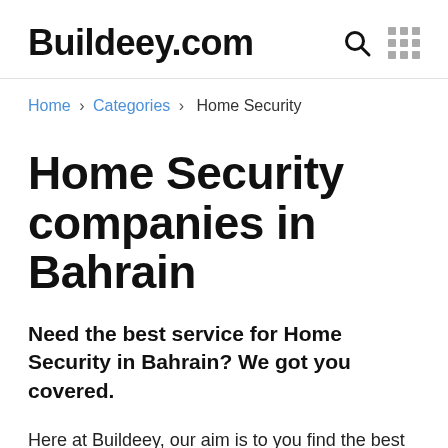Buildeey.com
Home › Categories › Home Security
Home Security companies in Bahrain
Need the best service for Home Security in Bahrain? We got you covered.
Here at Buildeey, our aim is to you find the best service for Home Security